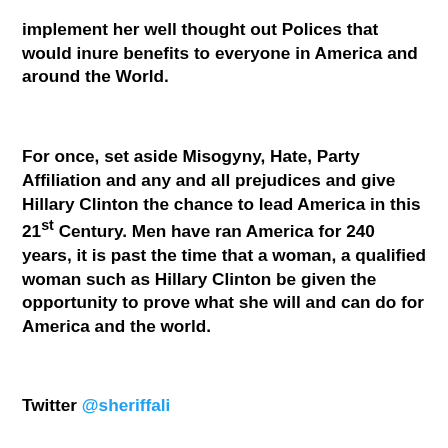implement her well thought out Polices that would inure benefits to everyone in America and around the World.
For once, set aside Misogyny, Hate, Party Affiliation and any and all prejudices and give Hillary Clinton the chance to lead America in this 21st Century. Men have ran America for 240 years, it is past the time that a woman, a qualified woman such as Hillary Clinton be given the opportunity to prove what she will and can do for America and the world.
Twitter @sheriffali